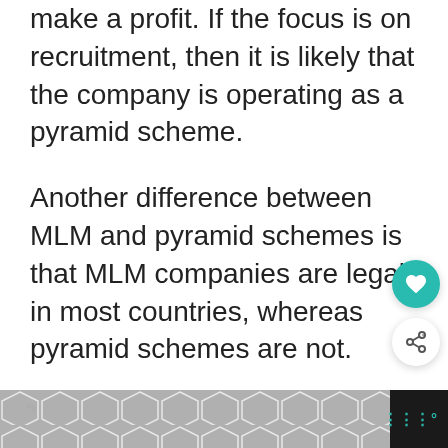make a profit. If the focus is on recruitment, then it is likely that the company is operating as a pyramid scheme.
Another difference between MLM and pyramid schemes is that MLM companies are legal in most countries, whereas pyramid schemes are not.
This is because MLM companies are selling products or services that have value, whereas pyramid schemes are not.
[Figure (other): Bottom advertisement banner with a geometric hexagon pattern in grey tones on dark background, with WW logo in teal]